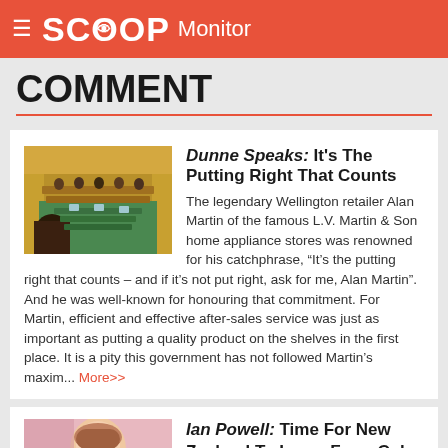SCOOP Monitor
COMMENT
Dunne Speaks: It's The Putting Right That Counts
The legendary Wellington retailer Alan Martin of the famous L.V. Martin & Son home appliance stores was renowned for his catchphrase, “It’s the putting right that counts – and if it’s not put right, ask for me, Alan Martin”. And he was well-known for honouring that commitment. For Martin, efficient and effective after-sales service was just as important as putting a quality product on the shelves in the first place. It is a pity this government has not followed Martin’s maxim... More>>
[Figure (photo): Parliament chamber interior with rows of seats and green carpet]
Ian Powell: Time For New Zealand To Learn From Cuba On
[Figure (photo): Person with colorful clothing, partial view]